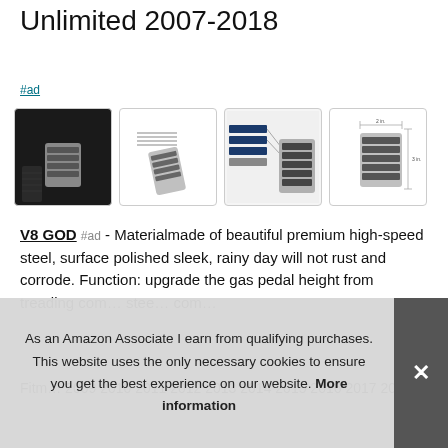Unlimited 2007-2018
#ad
[Figure (photo): Four product thumbnail images of a gas pedal cover: installed photo, angled product shot, flat diagram with labels, and side dimension view]
V8 GOD #ad - Material︎made of beautiful premium high-speed steel, surface polished sleek, rainy day will not rust and corrode. Function: upgrade the gas pedal height from treading com... stee... com...
Fitm... 2009 2010 2011 2012 2013 2014 2015 2016 2017 2018 JK
As an Amazon Associate I earn from qualifying purchases. This website uses the only necessary cookies to ensure you get the best experience on our website. More information